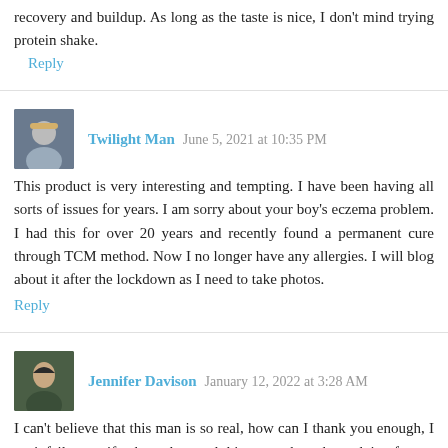recovery and buildup. As long as the taste is nice, I don't mind trying protein shake.
Reply
Twilight Man  June 5, 2021 at 10:35 PM
This product is very interesting and tempting. I have been having all sorts of issues for years. I am sorry about your boy's eczema problem. I had this for over 20 years and recently found a permanent cure through TCM method. Now I no longer have any allergies. I will blog about it after the lockdown as I need to take photos.
Reply
Jennifer Davison  January 12, 2022 at 3:28 AM
I can't believe that this man is so real, how can I thank you enough, I can't fail to testify about the good things you have been doing for me and now you still went ahead and do same for my friend, please everyone if you have anything disturbing you please your solution is hear with